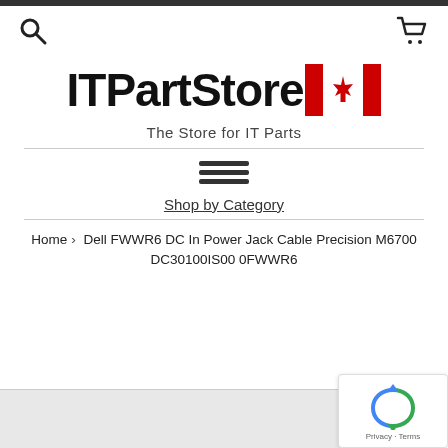[Figure (logo): ITPartStore logo with Canadian flag graphic — bold black text 'ITPartStore' followed by red rectangle, maple leaf, red rectangle]
The Store for IT Parts
[Figure (infographic): Hamburger menu icon (three horizontal lines)]
Shop by Category
Home › Dell FWWR6 DC In Power Jack Cable Precision M6700 DC30100IS00 0FWWR6